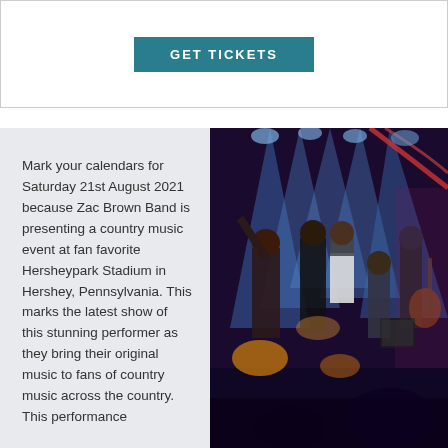[Figure (other): GET TICKETS button in teal/dark cyan color]
Mark your calendars for Saturday 21st August 2021 because Zac Brown Band is presenting a country music event at fan favorite Hersheypark Stadium in Hershey, Pennsylvania. This marks the latest show of this stunning performer as they bring their original music to fans of country music across the country. This performance...
[Figure (photo): Zac Brown Band performing on stage with dramatic blue and red stage lighting, band members playing instruments]